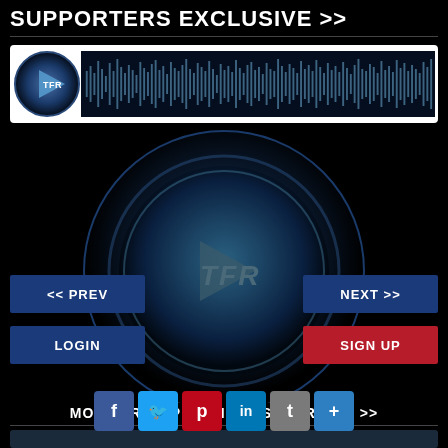SUPPORTERS EXCLUSIVE >>
[Figure (screenshot): TFR audio player with waveform display, dark blue background with audio waveform visualization and TFR play button icon]
[Figure (illustration): Large circular TFR play button with blue swirling design, with navigation buttons (PREV, NEXT, LOGIN, SIGN UP) and social media share buttons (Facebook, Twitter, Pinterest, LinkedIn, Tumblr, plus)]
MORE FROM PHOENIX RISING RADIO >>